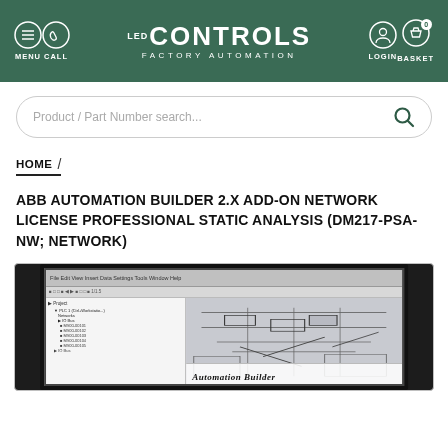LED Controls Factory Automation — MENU | CALL | LOGIN | BASKET
Product / Part Number search...
HOME /
ABB AUTOMATION BUILDER 2.X ADD-ON NETWORK LICENSE PROFESSIONAL STATIC ANALYSIS (DM217-PSA-NW; NETWORK)
[Figure (screenshot): A computer monitor displaying the ABB Automation Builder software interface with a project tree on the left and an industrial schematic diagram on the right. The screen shows 'Automation Builder' text at the bottom.]